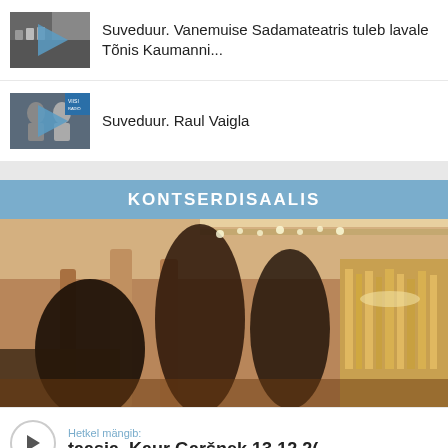Suveduur. Vanemuise Sadamateatris tuleb lavale Tõnis Kaumanni...
Suveduur. Raul Vaigla
KONTSERDISAALIS
[Figure (photo): Concert hall interior with blurred silhouettes of performers, columns, stage lighting, and a pipe organ visible in the background.]
Hetkel mängib: taasia. Kaur Garšnek 13.12.2(